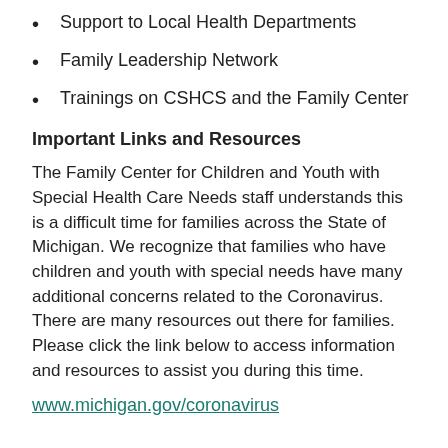Support to Local Health Departments
Family Leadership Network
Trainings on CSHCS and the Family Center
Important Links and Resources
The Family Center for Children and Youth with Special Health Care Needs staff understands this is a difficult time for families across the State of Michigan. We recognize that families who have children and youth with special needs have many additional concerns related to the Coronavirus. There are many resources out there for families. Please click the link below to access information and resources to assist you during this time.
www.michigan.gov/coronavirus